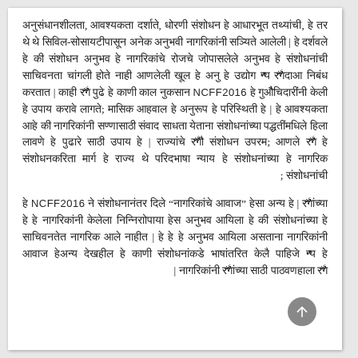Paragraph 1: Text in Hebrew/Indic script with NCFF2016 reference - full paragraph of body text in RTL direction.
Paragraph 2: Text in Hebrew/Indic script with NCFF2016 reference - second paragraph with quoted text and RTL body text.